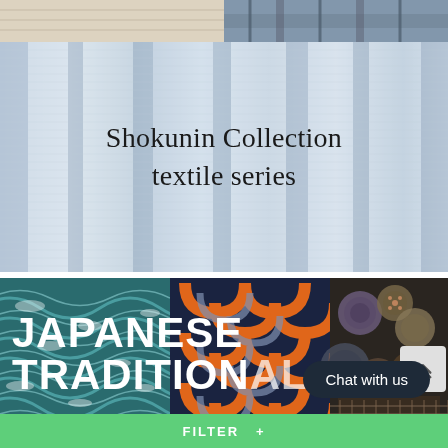[Figure (photo): Top strip showing close-up of plaid/tartan fabric in beige and gray tones]
[Figure (photo): Light blue-gray textured seersucker fabric draped in soft folds with text overlay 'Shokunin Collection textile series']
Shokunin Collection textile series
[Figure (photo): Composite image with three panels: Japanese wave pattern (teal/white), geometric orange and navy pattern, and traditional Japanese baskets/coasters. Large white text reads 'JAPANESE TRADITIONAL']
JAPANESE TRADITIONAL
Chat with us
FILTER +